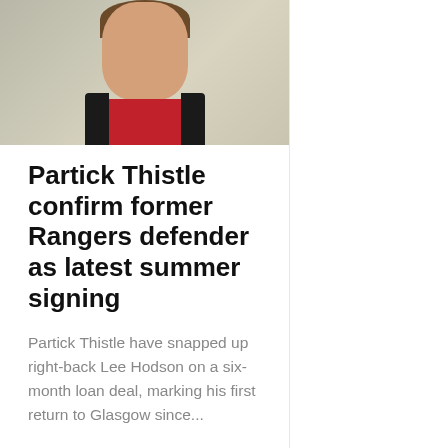[Figure (photo): A smiling young man wearing a red shirt and dark jacket, photographed from the chest/shoulders up with a blurred background.]
Partick Thistle confirm former Rangers defender as latest summer signing
Partick Thistle have snapped up right-back Lee Hodson on a six-month loan deal, marking his first return to Glasgow since...
Glasgow Live
3 weeks ago